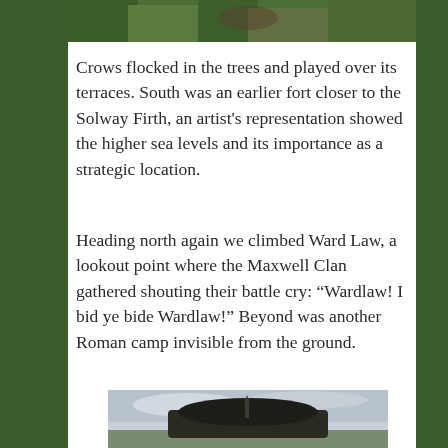[Figure (photo): Top portion of a photo, appears to show foliage or trees]
Crows flocked in the trees and played over its terraces. South was an earlier fort closer to the Solway Firth, an artist's representation showed the higher sea levels and its importance as a strategic location.
Heading north again we climbed Ward Law, a lookout point where the Maxwell Clan gathered shouting their battle cry: “Wardlaw! I bid ye bide Wardlaw!” Beyond was another Roman camp invisible from the ground.
[Figure (photo): Photo of a cluster of trees on an open landscape with grey sky, a monument or structure visible in the centre of the trees]